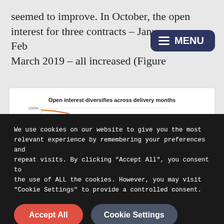seemed to improve. In October, the open interest for three contracts – January, February, March 2019 – all increased (Figure...
[Figure (line-chart): Open interest diversifies across delivery months]
We use cookies on our website to give you the most relevant experience by remembering your preferences and repeat visits. By clicking "Accept All", you consent to the use of ALL the cookies. However, you may visit "Cookie Settings" to provide a controlled consent.